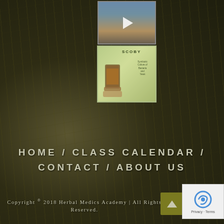[Figure (photo): Thumbnail video of mountain/outdoor scene with play button overlay]
[Figure (illustration): SCOBY promotional image with green background, text and kombucha jars]
HOME / CLASS CALENDAR / CONTACT / ABOUT US
Copyright © 2018 Herbal Medics Academy | All Rights Reserved.